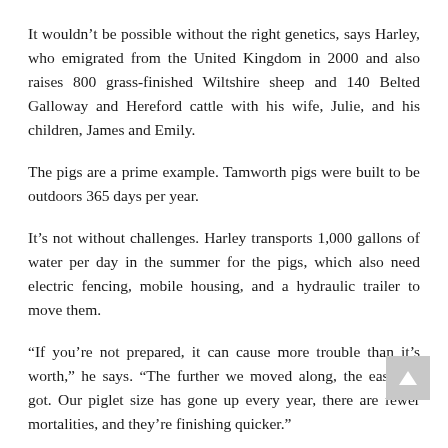It wouldn't be possible without the right genetics, says Harley, who emigrated from the United Kingdom in 2000 and also raises 800 grass-finished Wiltshire sheep and 140 Belted Galloway and Hereford cattle with his wife, Julie, and his children, James and Emily.
The pigs are a prime example. Tamworth pigs were built to be outdoors 365 days per year.
It's not without challenges. Harley transports 1,000 gallons of water per day in the summer for the pigs, which also need electric fencing, mobile housing, and a hydraulic trailer to move them.
“If you’re not prepared, it can cause more trouble than it’s worth,” he says. “The further we moved along, the easier it got. Our piglet size has gone up every year, there are fewer mortalities, and they’re finishing quicker.”
It’s not for everyone, Harley says, admitting some farmers are